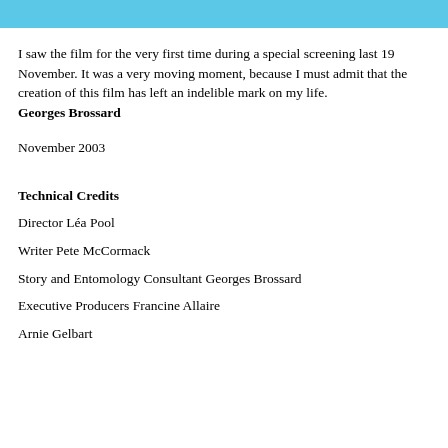I saw the film for the very first time during a special screening last 19 November. It was a very moving moment, because I must admit that the creation of this film has left an indelible mark on my life. Georges Brossard
November 2003
Technical Credits
Director Léa Pool
Writer Pete McCormack
Story and Entomology Consultant Georges Brossard
Executive Producers Francine Allaire
Arnie Gelbart